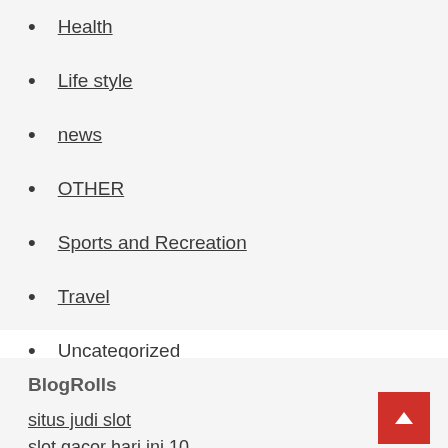Health
Life style
news
OTHER
Sports and Recreation
Travel
Uncategorized
BlogRolls
situs judi slot
slot gacor hari ini 10